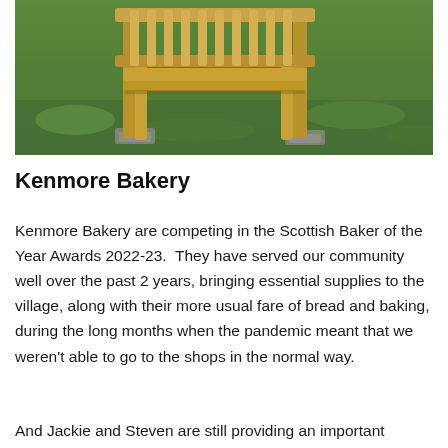[Figure (photo): Outdoor photo of a wooden bench or chair structure with vertical slats, set on a grassy lawn. The furniture appears to be made of light-colored wood, positioned on stone or concrete footings in a garden setting.]
Kenmore Bakery
Kenmore Bakery are competing in the Scottish Baker of the Year Awards 2022-23.  They have served our community well over the past 2 years, bringing essential supplies to the village, along with their more usual fare of bread and baking, during the long months when the pandemic meant that we weren't able to go to the shops in the normal way.
And Jackie and Steven are still providing an important